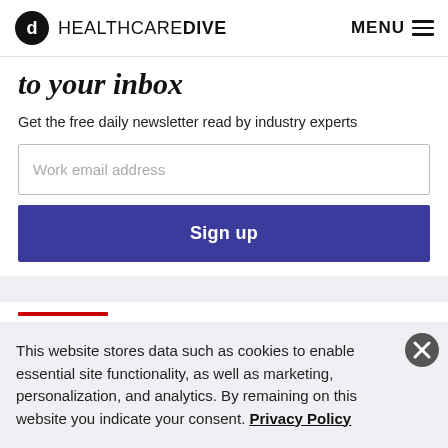HEALTHCAREDIVE  MENU
to your inbox
Get the free daily newsletter read by industry experts
Work email address
Sign up
EDITORS' PICKS
This website stores data such as cookies to enable essential site functionality, as well as marketing, personalization, and analytics. By remaining on this website you indicate your consent. Privacy Policy